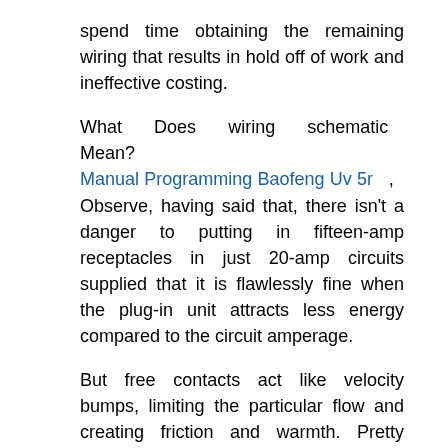spend time obtaining the remaining wiring that results in hold off of work and ineffective costing.
What Does wiring schematic Mean? Manual Programming Baofeng Uv 5r , Observe, having said that, there isn't a danger to putting in fifteen-amp receptacles in just 20-amp circuits supplied that it is flawlessly fine when the plug-in unit attracts less energy compared to the circuit amperage.
But free contacts act like velocity bumps, limiting the particular flow and creating friction and warmth. Pretty unfastened contacts may result in arcing, where electricity gets through the air coming from a single conductor to another, making great heat. Everything about wiring schematic Repair Manuals For Kenmore Refrigerators .
We are going to present you with The fundamental